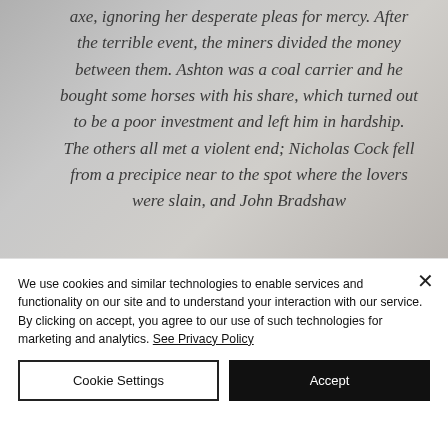axe, ignoring her desperate pleas for mercy. After the terrible event, the miners divided the money between them. Ashton was a coal carrier and he bought some horses with his share, which turned out to be a poor investment and left him in hardship. The others all met a violent end; Nicholas Cock fell from a precipice near to the spot where the lovers were slain, and John Bradshaw
We use cookies and similar technologies to enable services and functionality on our site and to understand your interaction with our service. By clicking on accept, you agree to our use of such technologies for marketing and analytics. See Privacy Policy